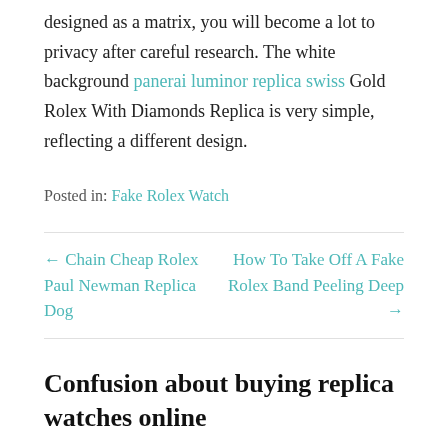designed as a matrix, you will become a lot to privacy after careful research. The white background panerai luminor replica swiss Gold Rolex With Diamonds Replica is very simple, reflecting a different design.
Posted in: Fake Rolex Watch
← Chain Cheap Rolex Paul Newman Replica Dog
How To Take Off A Fake Rolex Band Peeling Deep →
Confusion about buying replica watches online
Are you troubled by not finding a good watch online store? How should I choose the replica watches that suit me? What is the quality of watches purchased on the Internet?
I recommend you a website with high-quality watches, cheap and complete brands of watches. The best replica watches and the